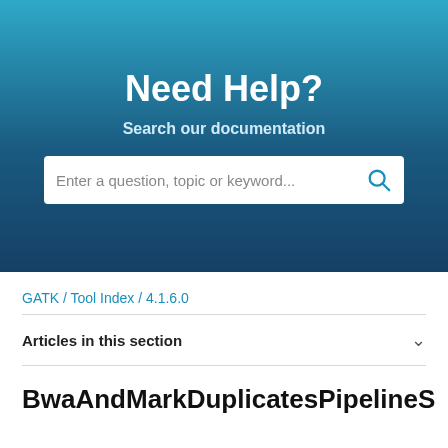Need Help?
Search our documentation
[Figure (screenshot): Search bar with placeholder text: Enter a question, topic or keyword...]
GATK / Tool Index / 4.1.6.0
Articles in this section
BwaAndMarkDuplicatesPipelineS